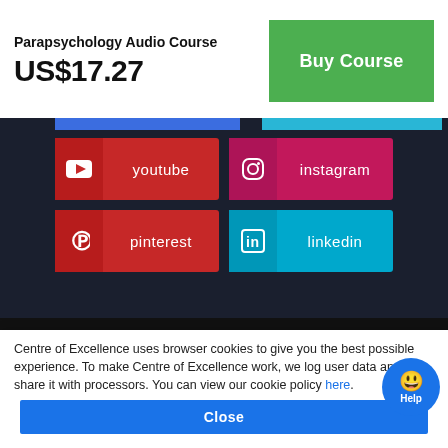Parapsychology Audio Course
US$17.27
Buy Course
[Figure (infographic): Social media buttons grid: YouTube (red), Instagram (pink/purple), Pinterest (red), LinkedIn (blue)]
Copyright
Cookie Policy
Terms & Conditions
Centre of Excellence uses browser cookies to give you the best possible experience. To make Centre of Excellence work, we log user data and share it with processors. You can view our cookie policy here.
Close